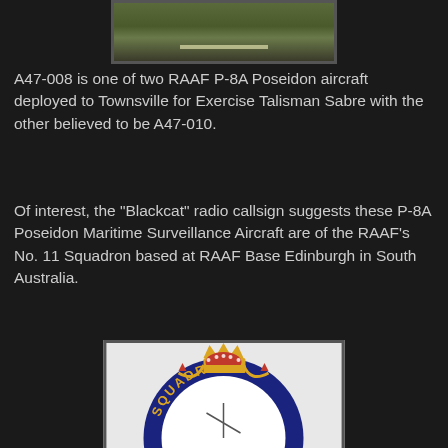[Figure (photo): Top portion of a photo showing what appears to be an aircraft on a runway or airfield, with green grass and a pale marking visible]
A47-008 is one of two RAAF P-8A Poseidon aircraft deployed to Townsville for Exercise Talisman Sabre with the other believed to be A47-010.
Of interest, the "Blackcat" radio callsign suggests these P-8A Poseidon Maritime Surveillance Aircraft are of the RAAF's No. 11 Squadron based at RAAF Base Edinburgh in South Australia.
[Figure (photo): RAAF No. 11 Squadron badge/crest showing a royal crown in red and gold at top, with the word SQUADRON in gold letters on a dark blue circular band, and a white circular center with squadron insignia]